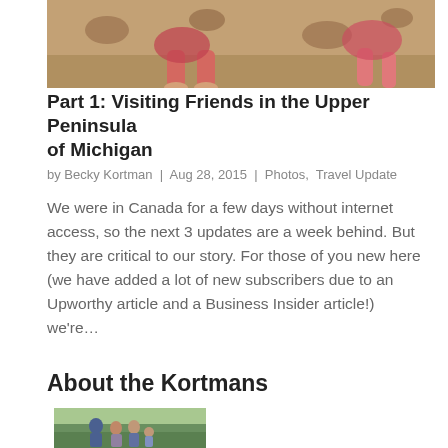[Figure (photo): Photo of children/people lying on a floral-patterned couch/sofa, taken from below, wearing pink clothing.]
Part 1: Visiting Friends in the Upper Peninsula of Michigan
by Becky Kortman | Aug 28, 2015 | Photos, Travel Update
We were in Canada for a few days without internet access, so the next 3 updates are a week behind. But they are critical to our story. For those of you new here (we have added a lot of new subscribers due to an Upworthy article and a Business Insider article!) we're…
About the Kortmans
[Figure (photo): Family photo of the Kortmans outdoors, group of people smiling.]